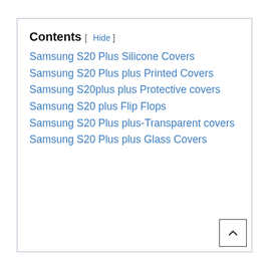Contents [ Hide ]
Samsung S20 Plus Silicone Covers
Samsung S20 Plus plus Printed Covers
Samsung S20plus plus Protective covers
Samsung S20 plus Flip Flops
Samsung S20 Plus plus-Transparent covers
Samsung S20 Plus plus Glass Covers